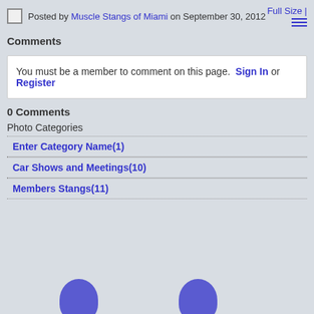Posted by Muscle Stangs of Miami on September 30, 2012  Full Size |
Comments
You must be a member to comment on this page. Sign In or Register
0 Comments
Photo Categories
Enter Category Name(1)
Car Shows and Meetings(10)
Members Stangs(11)